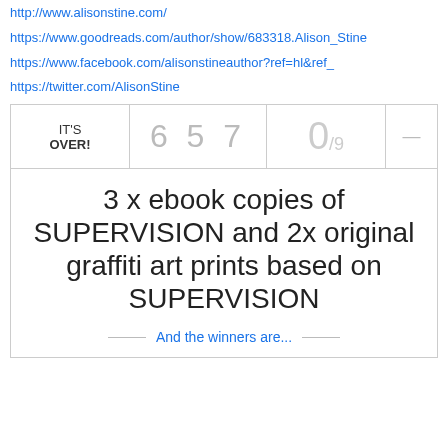http://www.alisonstine.com/
https://www.goodreads.com/author/show/683318.Alison_Stine
https://www.facebook.com/alisonstineauthor?ref=hl&ref_
https://twitter.com/AlisonStine
| Status | Count | Ratio |  |
| --- | --- | --- | --- |
| IT'S OVER! | 6 5 7 | 0/9 | — |
3 x ebook copies of SUPERVISION and 2x original graffiti art prints based on SUPERVISION
And the winners are...